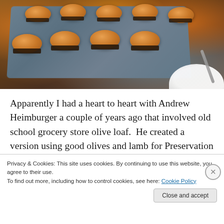[Figure (photo): Mini sliders/burgers with dark filling on a slate board on a wooden table, with a white plate and knife visible in the background]
Apparently I had a heart to heart with Andrew Heimburger a couple of years ago that involved old school grocery store olive loaf.  He created a version using good olives and lamb for Preservation Market that I specifically wanted
Privacy & Cookies: This site uses cookies. By continuing to use this website, you agree to their use.
To find out more, including how to control cookies, see here: Cookie Policy
Close and accept